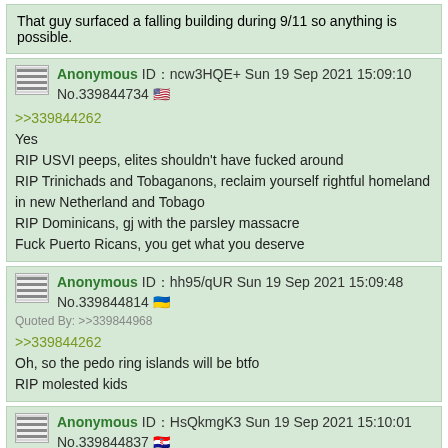That guy surfaced a falling building during 9/11 so anything is possible.
Anonymous ID:ncw3HQE+ Sun 19 Sep 2021 15:09:10 No.339844734
>>339844262
Yes
RIP USVI peeps, elites shouldn't have fucked around
RIP Trinichads and Tobaganons, reclaim yourself rightful homeland in new Netherland and Tobago
RIP Dominicans, gj with the parsley massacre
Fuck Puerto Ricans, you get what you deserve
Anonymous ID:hh95/qUR Sun 19 Sep 2021 15:09:48 No.339844814
Quoted By: >>339844968
>>339844262
Oh, so the pedo ring islands will be btfo
RIP molested kids
Anonymous ID:HsQkmgK3 Sun 19 Sep 2021 15:10:01 No.339844837
>>339843319
stay safe anon